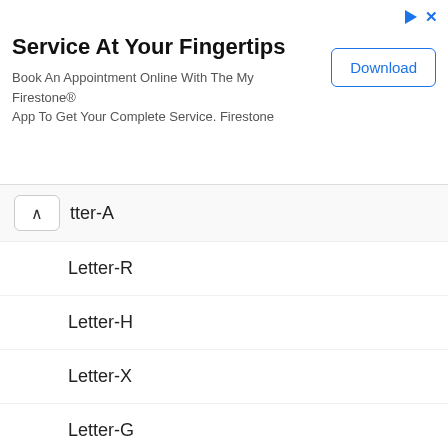[Figure (screenshot): Advertisement banner for Firestone app with title 'Service At Your Fingertips', body text, and Download button]
∧  tter-A
Letter-R
Letter-H
Letter-X
Letter-G
Letter-P
Letter-J
Letter-Q
Letter-F
Letter-T